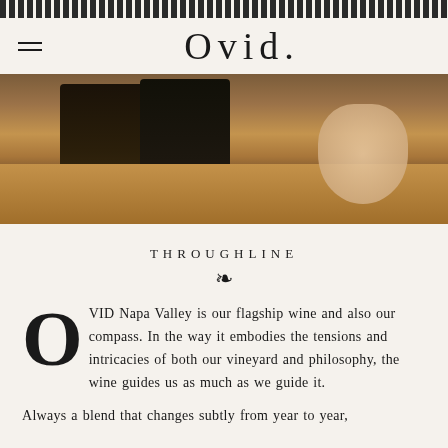OVID.
[Figure (photo): A photograph of dark wine bottles on a wooden surface or rack, with a person's hand visible in the background on the right side.]
THROUGHLINE
OVID Napa Valley is our flagship wine and also our compass. In the way it embodies the tensions and intricacies of both our vineyard and philosophy, the wine guides us as much as we guide it.
Always a blend that changes subtly from year to year,